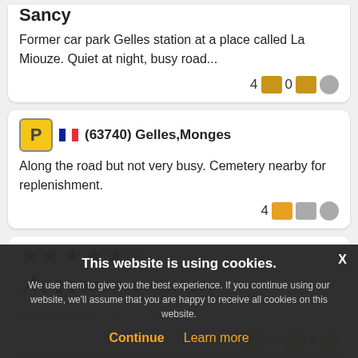Sancy
Former car park Gelles station at a place called La Miouze. Quiet at night, busy road...
4 [photo] 0 [comment] [face]
(63740) Gelles,Monges
Along the road but not very busy. Cemetery nearby for replenishment.
4 [photo] [comment-gray] [face]
★★★★★½ (63740) Gelles, D204
Camping Municipal by ...hall
5 [photo] 27 [comment] 8 [face]
This website is using cookies.
We use them to give you the best experience. If you continue using our website, we'll assume that you are happy to receive all cookies on this website.
Continue   Learn more